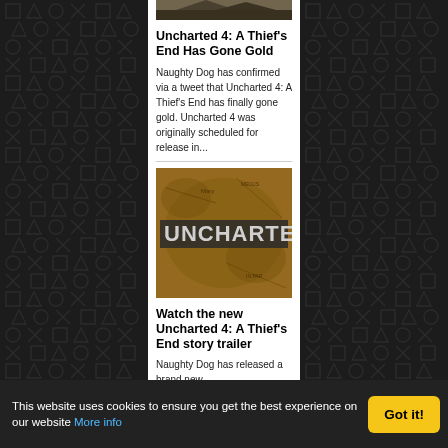[Figure (screenshot): PlayStation-style dark background with repeating symbols (triangle, circle, X, square) on left and right sidebars]
[Figure (photo): Uncharted 4 thumbnail image at top of article, partially visible]
Uncharted 4: A Thief's End Has Gone Gold
Naughty Dog has confirmed via a tweet that Uncharted 4: A Thief's End has finally gone gold. Uncharted 4 was originally scheduled for release in...
[Figure (photo): Uncharted 4 logo image on a brown map background]
Watch the new Uncharted 4: A Thief's End story trailer
Naughty Dog has released a brand new
This website uses cookies to ensure you get the best experience on our website More info
Got it!